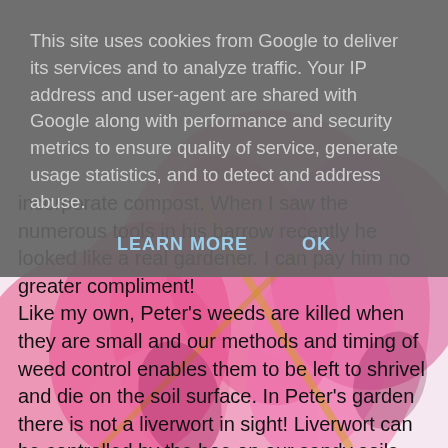This site uses cookies from Google to deliver its services and to analyze traffic. Your IP address and user-agent are shared with Google along with performance and security metrics to ensure quality of service, generate usage statistics, and to detect and address abuse.
LEARN MORE    OK
incorporate compost. When I saw the numerous tools in his barrow recently he looked like a real gardener. I can pay him no greater compliment!
Like my own, Peter's weeds are killed when they are small and our methods and timing of weed control enables them to be left to shrivel and die on the soil surface. In Peter's garden there is not a liverwort in sight! Liverwort can be controlled by the hoe on our sandy soils and easily raked away. Regular readers will remember I do approve of hoeing and often hoe the weed in my vegetable garden and sometimes in my ornamental borders. I hoe the weed by severing